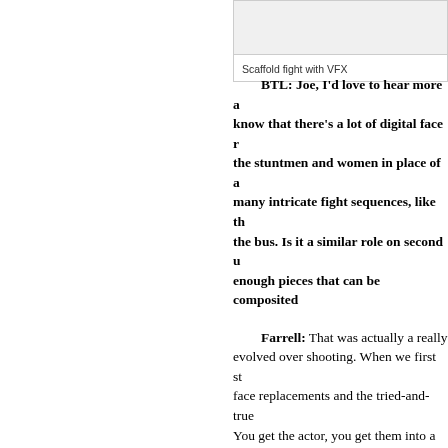[Figure (photo): Image of scaffold fight with VFX (partially visible at top of page)]
Scaffold fight with VFX
BTL: Joe, I'd love to hear more about — I know that there's a lot of digital face replacement of the stuntmen and women in place of actors in many intricate fight sequences, like the one on the bus. Is it a similar role on second unit, getting enough pieces that can be composited together?
Farrell: That was actually a really interesting one that evolved over shooting. When we first started, we did face replacements and the tried-and-true approach. You get the actor, you get them into a safe space so you can a similar kind of movement. You can then either project it or cut up parts of it and try and get that to work, as far as putting it. But over time evolved and we ended up with I think for some of them potentially as big, close sh stunts that the actors, if they were to do the stunts that the actors, if they were to do